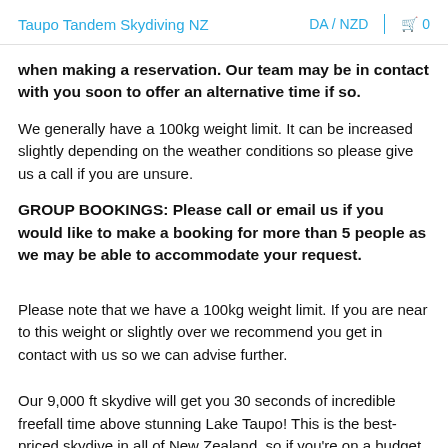Taupo Tandem Skydiving NZ | DA / NZD | 0
when making a reservation. Our team may be in contact with you soon to offer an alternative time if so.
We generally have a 100kg weight limit. It can be increased slightly depending on the weather conditions so please give us a call if you are unsure.
GROUP BOOKINGS: Please call or email us if you would like to make a booking for more than 5 people as we may be able to accommodate your request.
Please note that we have a 100kg weight limit. If you are near to this weight or slightly over we recommend you get in contact with us so we can advise further.
Our 9,000 ft skydive will get you 30 seconds of incredible freefall time above stunning Lake Taupo! This is the best-priced skydive in all of New Zealand, so if you're on a budget then this skydive is